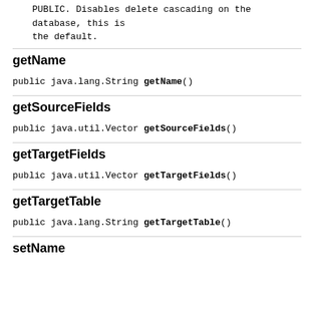PUBLIC. Disables delete cascading on the database, this is the default.
getName
public java.lang.String getName()
getSourceFields
public java.util.Vector getSourceFields()
getTargetFields
public java.util.Vector getTargetFields()
getTargetTable
public java.lang.String getTargetTable()
setName